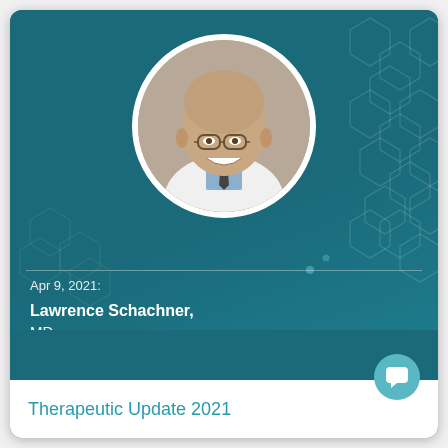[Figure (photo): Circular headshot photo of Lawrence Schachner MD, a middle-aged bald man wearing glasses, a white coat, blue shirt and dark tie, smiling, against a teal hexagonal patterned background]
Apr 9, 2021:
Lawrence Schachner, MD
Therapeutic Update 2021